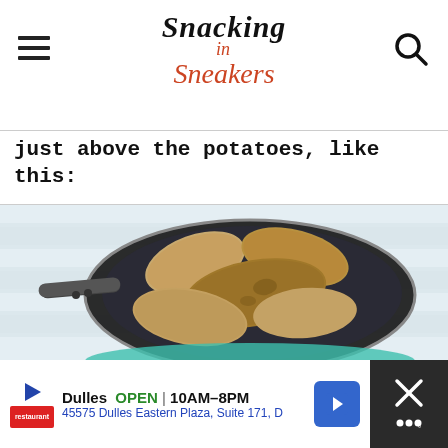Snacking in Sneakers
just above the potatoes, like this:
[Figure (photo): A stainless steel saucepan with a blue-green handle containing several whole russet potatoes submerged in water, placed on a white wooden surface.]
Dulles  OPEN | 10AM–8PM  45575 Dulles Eastern Plaza, Suite 171, D